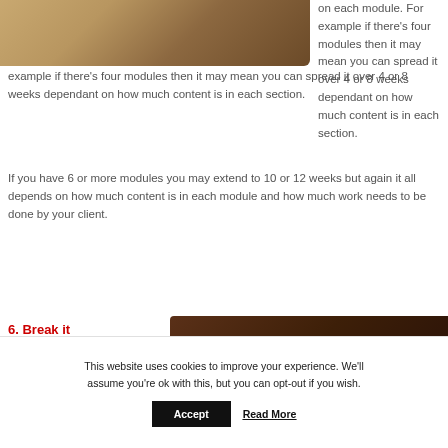[Figure (photo): Partial image of baked bread or similar food item, brownish tones, top-left of page]
on each module. For example if there's four modules then it may mean you can spread it over 4 or 8 weeks dependant on how much content is in each section.
If you have 6 or more modules you may extend to 10 or 12 weeks but again it all depends on how much content is in each module and how much work needs to be done by your client.
6. Break it
[Figure (photo): Partial image of a person, dark brown tones, bottom-right of main content area]
This website uses cookies to improve your experience. We'll assume you're ok with this, but you can opt-out if you wish.